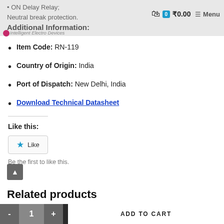Intelligent Electro Devices | ₹0.00 | Menu
ON Delay Relay;
Neutral break protection.
Additional Information:
Item Code: RN-119
Country of Origin: India
Port of Dispatch: New Delhi, India
Download Technical Datasheet
Like this:
Like
Be the first to like this.
Related products